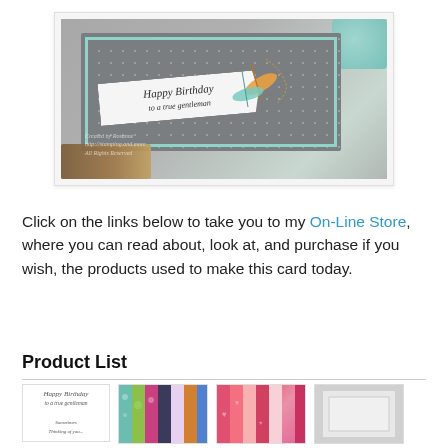[Figure (photo): A handmade birthday card with gray patterned paper, mint green border, white banner reading 'Happy Birthday to a true gentleman', orange and teal feathers, gold chain, resting on a wooden clipboard. A teal glass is visible in the upper right corner.]
Click on the links below to take you to my On-Line Store, where you can read about, look at, and purchase if you wish, the products used to make this card today.
Product List
[Figure (photo): Stamp set product thumbnail showing 'Happy Birthday to a true gentleman' and other sentiments]
[Figure (photo): Designer Series Paper stack with colorful patterns including teal, green, pink, and floral designs]
[Figure (photo): Pink and red patterned designer series paper stack]
[Figure (photo): Gray/neutral product thumbnail]